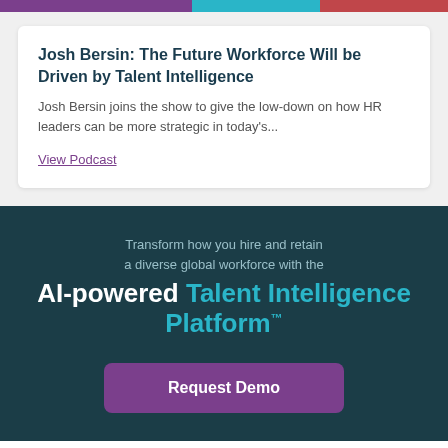[Figure (other): Colored banner bar with purple, teal, and red/maroon segments]
Josh Bersin: The Future Workforce Will be Driven by Talent Intelligence
Josh Bersin joins the show to give the low-down on how HR leaders can be more strategic in today's...
View Podcast
Transform how you hire and retain a diverse global workforce with the
AI-powered Talent Intelligence Platform™
Request Demo